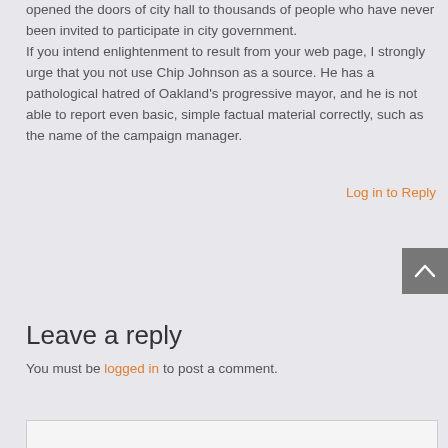opened the doors of city hall to thousands of people who have never been invited to participate in city government.
If you intend enlightenment to result from your web page, I strongly urge that you not use Chip Johnson as a source. He has a pathological hatred of Oakland's progressive mayor, and he is not able to report even basic, simple factual material correctly, such as the name of the campaign manager.
Log in to Reply
Leave a reply
You must be logged in to post a comment.